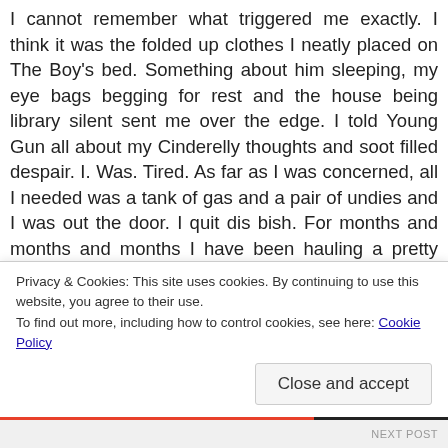I cannot remember what triggered me exactly. I think it was the folded up clothes I neatly placed on The Boy's bed. Something about him sleeping, my eye bags begging for rest and the house being library silent sent me over the edge. I told Young Gun all about my Cinderelly thoughts and soot filled despair. I. Was. Tired. As far as I was concerned, all I needed was a tank of gas and a pair of undies and I was out the door. I quit dis bish. For months and months and months I have been hauling a pretty hefty load with little help (and I was pregnant for most of them I might add). I was holding onto everyone's feelings, best interests and chores, while good ol' Cinderelly was being ignored. Young Gun reminded me of the problem: I stopped putting myself first.
Privacy & Cookies: This site uses cookies. By continuing to use this website, you agree to their use.
To find out more, including how to control cookies, see here: Cookie Policy
Close and accept